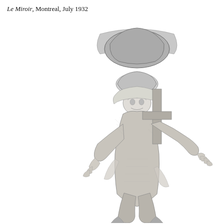Le Miroir, Montreal, July 1932
[Figure (illustration): Black and white illustration of a hunched figure, possibly a laborer or peasant, carrying heavy loads on their back with arms outstretched, depicted in a dramatic ink or engraving style. The figure appears burdened, with a large sack or bundle balanced on their back and a cross-like structure visible behind them.]